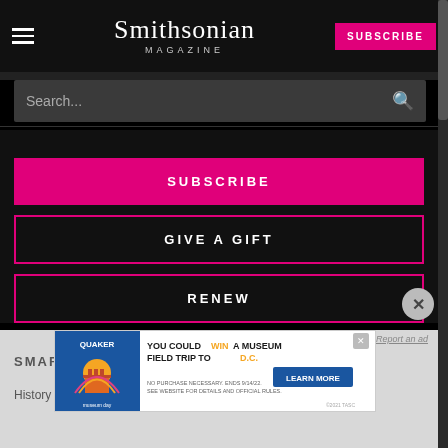Smithsonian MAGAZINE
Search...
SUBSCRIBE
GIVE A GIFT
RENEW
Report an ad
SMAR...
History
Science
[Figure (screenshot): Quaker Museum Day advertisement: YOU COULD WIN A MUSEUM FIELD TRIP TO D.C. LEARN MORE. No purchase necessary. Ends 9/14/22.]